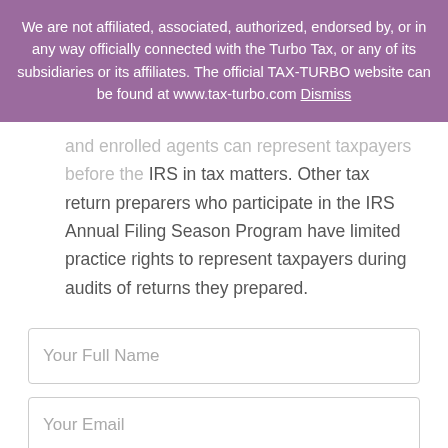We are not affiliated, associated, authorized, endorsed by, or in any way officially connected with the Turbo Tax, or any of its subsidiaries or its affiliates. The official TAX-TURBO website can be found at www.tax-turbo.com Dismiss
and enrolled agents can represent taxpayers before the IRS in tax matters. Other tax return preparers who participate in the IRS Annual Filing Season Program have limited practice rights to represent taxpayers during audits of returns they prepared.
[Figure (screenshot): Form input field with placeholder text 'Your Full Name']
[Figure (screenshot): Form input field with placeholder text 'Your Email']
[Figure (screenshot): Form input field with US flag dropdown and placeholder text 'Phone']